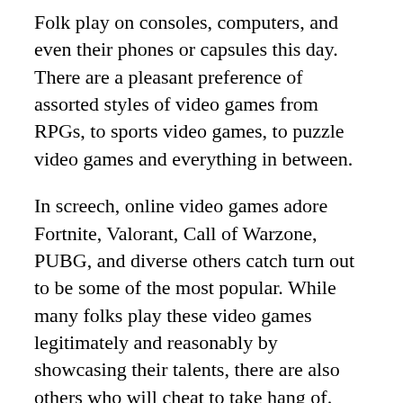Folk play on consoles, computers, and even their phones or capsules this day. There are a pleasant preference of assorted styles of video games from RPGs, to sports video games, to puzzle video games and everything in between.
In screech, online video games adore Fortnite, Valorant, Call of Warzone, PUBG, and diverse others catch turn out to be some of the most popular. While many folks play these video games legitimately and reasonably by showcasing their talents, there are also others who will cheat to take hang of.
Whether or no longer you would be precise a conventional participant, or one of the becoming Valorant streamers, playing against cheaters is by no plan any fun and they'd be no longer skill to beat.
When gamers jog into these opponents, they could